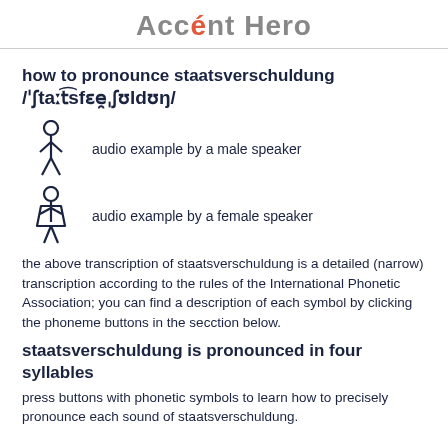Accént Hero
how to pronounce staatsverschuldung /ˈʃtaːt͡sfɛe̯ˌʃʊldʊŋ/
audio example by a male speaker
audio example by a female speaker
the above transcription of staatsverschuldung is a detailed (narrow) transcription according to the rules of the International Phonetic Association; you can find a description of each symbol by clicking the phoneme buttons in the secction below.
staatsverschuldung is pronounced in four syllables
press buttons with phonetic symbols to learn how to precisely pronounce each sound of staatsverschuldung.